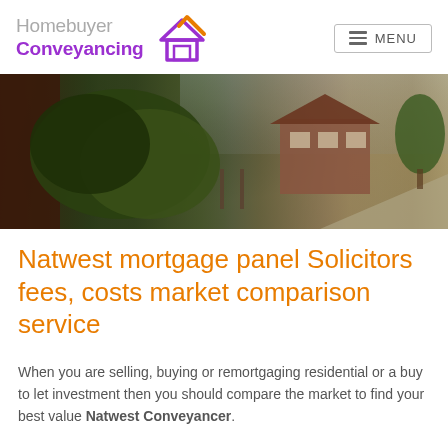[Figure (logo): Homebuyer Conveyancing logo with house icon and orange checkmark, and MENU button on the right]
[Figure (photo): Photo of a residential street with red brick houses, hedgerow, and driveway]
Natwest mortgage panel Solicitors fees, costs market comparison service
When you are selling, buying or remortgaging residential or a buy to let investment then you should compare the market to find your best value Natwest Conveyancer.